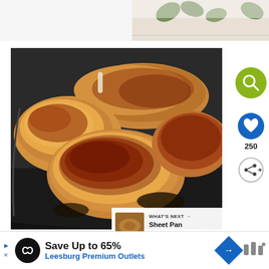[Figure (photo): Partial top strip of a decorative image with leaves on a light background]
[Figure (photo): Close-up photo of breaded and seasoned fried chicken pieces in a dark cast iron skillet, with crispy golden-brown and reddish spiced coating]
[Figure (infographic): Green circle search icon button on the right side]
[Figure (infographic): Blue circle heart/save icon button with count 250 below it, and a share icon button below that]
250
WHAT'S NEXT → Sheet Pan Eggplant...
Save Up to 65%
Leesburg Premium Outlets